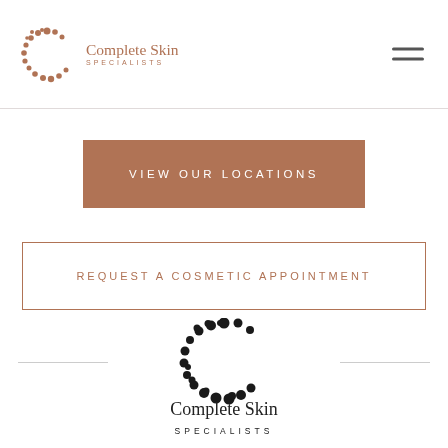[Figure (logo): Complete Skin Specialists logo in the header — dotted C letterform in rose-gold with brand name]
VIEW OUR LOCATIONS
REQUEST A COSMETIC APPOINTMENT
[Figure (logo): Complete Skin Specialists footer logo — large black dotted C letterform with brand name below]